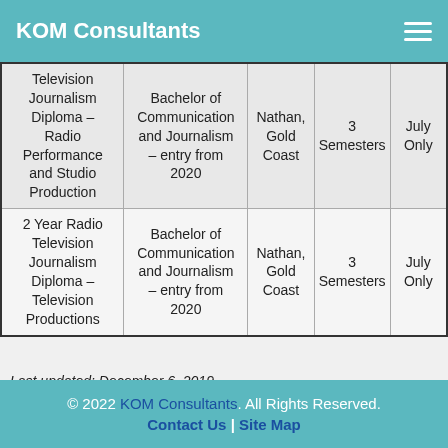KOM Consultants
| Program | Degree | Location | Duration | Intake |
| --- | --- | --- | --- | --- |
| Television Journalism Diploma – Radio Performance and Studio Production | Bachelor of Communication and Journalism – entry from 2020 | Nathan, Gold Coast | 3 Semesters | July Only |
| 2 Year Radio Television Journalism Diploma – Television Productions | Bachelor of Communication and Journalism – entry from 2020 | Nathan, Gold Coast | 3 Semesters | July Only |
Last updated: December 6, 2019
© 2022 KOM Consultants. All Rights Reserved. Contact Us | Site Map